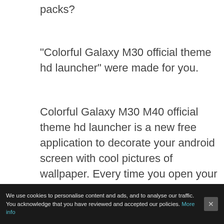packs?
"Colorful Galaxy M30 official theme hd launcher" were made for you.
Colorful Galaxy M30 M40 official theme hd launcher is a new free application to decorate your android screen with cool pictures of wallpaper. Every time you open your phone you will see a beautiful wallpapers and icon packs.
We use cookies to personalise content and ads, and to analyse our traffic. You acknowledge that you have reviewed and accepted our policies. More info